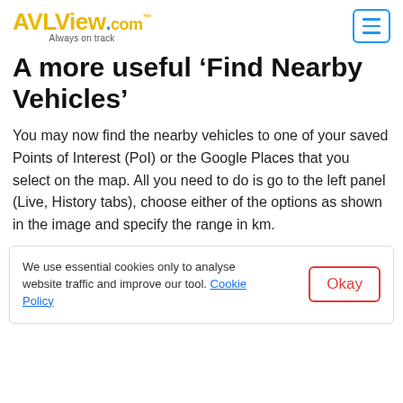AVLView.com Always on track
A more useful ‘Find Nearby Vehicles’
You may now find the nearby vehicles to one of your saved Points of Interest (PoI) or the Google Places that you select on the map. All you need to do is go to the left panel (Live, History tabs), choose either of the options as shown in the image and specify the range in km.
We use essential cookies only to analyse website traffic and improve our tool. Cookie Policy